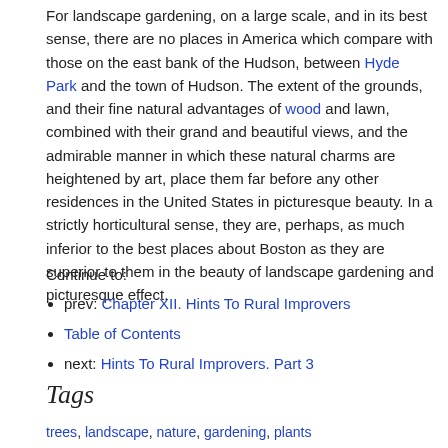For landscape gardening, on a large scale, and in its best sense, there are no places in America which compare with those on the east bank of the Hudson, between Hyde Park and the town of Hudson. The extent of the grounds, and their fine natural advantages of wood and lawn, combined with their grand and beautiful views, and the admirable manner in which these natural charms are heightened by art, place them far before any other residences in the United States in picturesque beauty. In a strictly horticultural sense, they are, perhaps, as much inferior to the best places about Boston as they are superior to them in the beauty of landscape gardening and picturesque effect.
Continue to:
prev: Chapter XII. Hints To Rural Improvers
Table of Contents
next: Hints To Rural Improvers. Part 3
Tags
trees, landscape, nature, gardening, plants